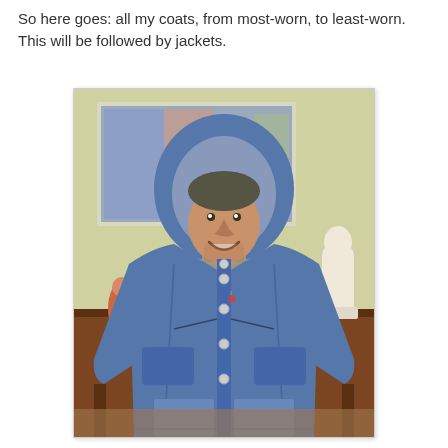So here goes: all my coats, from most-worn, to least-worn. This will be followed by jackets.
[Figure (photo): A smiling man wearing a blue hooded coat/jacket with snap buttons, hands in pockets, standing in a room with mid-century modern furniture, a colorful abstract painting on the wall, and a white sculpture on a dresser in the background.]